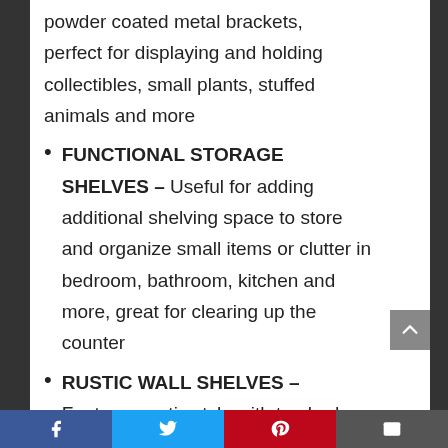powder coated metal brackets, perfect for displaying and holding collectibles, small plants, stuffed animals and more
FUNCTIONAL STORAGE SHELVES – Useful for adding additional shelving space to store and organize small items or clutter in bedroom, bathroom, kitchen and more, great for clearing up the counter
RUSTIC WALL SHELVES – Features rustic style with torched finish wood and industrial metal brackets,
Facebook | Twitter | Pinterest | Email